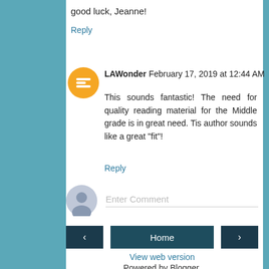good luck, Jeanne!
Reply
LAWonder  February 17, 2019 at 12:44 AM
This sounds fantastic! The need for quality reading material for the Middle grade is in great need. Tis author sounds like a great "fit"!
Reply
Enter Comment
Home
View web version
Powered by Blogger.